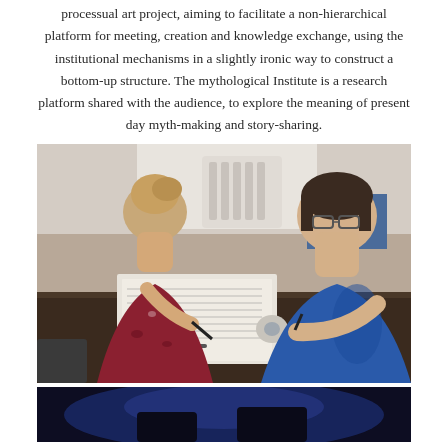processual art project, aiming to facilitate a non-hierarchical platform for meeting, creation and knowledge exchange, using the institutional mechanisms in a slightly ironic way to construct a bottom-up structure. The mythological Institute is a research platform shared with the audience, to explore the meaning of present day myth-making and story-sharing.
[Figure (photo): Two women sitting at a dark wooden table working together on papers with writing. One woman has blonde hair in a bun and wears a red patterned top; the other has short dark hair and glasses, wearing a blue top. There is a white heater in the background and a blue folder visible. Items on the table include papers, tape, sticky notes, and pens.]
[Figure (photo): Partial view of a photo with blue lighting, showing the beginning of another image at the bottom of the page.]